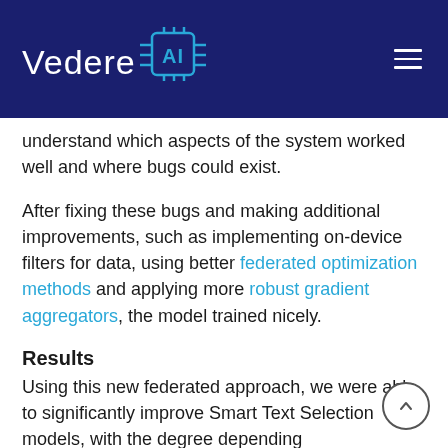Vedere AI
understand which aspects of the system worked well and where bugs could exist.
After fixing these bugs and making additional improvements, such as implementing on-device filters for data, using better federated optimization methods and applying more robust gradient aggregators, the model trained nicely.
Results
Using this new federated approach, we were able to significantly improve Smart Text Selection models, with the degree depending